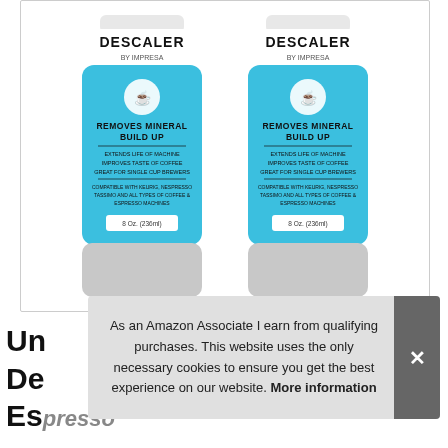[Figure (photo): Two bottles of Descaler by Impresa coffee machine descaler product, light blue bottles with white caps, showing text: REMOVES MINERAL BUILD UP, EXTENDS LIFE OF MACHINE, IMPROVES TASTE OF COFFEE, GREAT FOR SINGLE CUP BREWERS, COMPATIBLE WITH KEURIG, NESPRESSO, TASSIMO AND ALL TYPES OF COFFEE & ESPRESSO MACHINES, 8 Oz. (236ml)]
Un
De
Espresso Machines, Nespresso,
As an Amazon Associate I earn from qualifying purchases. This website uses the only necessary cookies to ensure you get the best experience on our website. More information